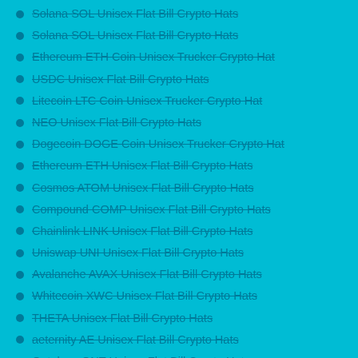Solana SOL Unisex Flat Bill Crypto Hats
Solana SOL Unisex Flat Bill Crypto Hats
Ethereum ETH Coin Unisex Trucker Crypto Hat
USDC Unisex Flat Bill Crypto Hats
Litecoin LTC Coin Unisex Trucker Crypto Hat
NEO Unisex Flat Bill Crypto Hats
Dogecoin DOGE Coin Unisex Trucker Crypto Hat
Ethereum ETH Unisex Flat Bill Crypto Hats
Cosmos ATOM Unisex Flat Bill Crypto Hats
Compound COMP Unisex Flat Bill Crypto Hats
Chainlink LINK Unisex Flat Bill Crypto Hats
Uniswap UNI Unisex Flat Bill Crypto Hats
Avalanche AVAX Unisex Flat Bill Crypto Hats
Whitecoin XWC Unisex Flat Bill Crypto Hats
THETA Unisex Flat Bill Crypto Hats
aeternity AE Unisex Flat Bill Crypto Hats
Ontology ONT Unisex Flat Bill Crypto Hats